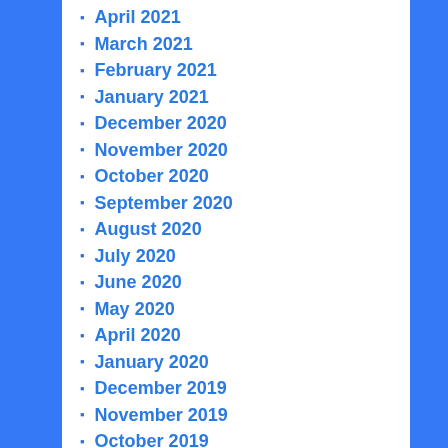April 2021
March 2021
February 2021
January 2021
December 2020
November 2020
October 2020
September 2020
August 2020
July 2020
June 2020
May 2020
April 2020
January 2020
December 2019
November 2019
October 2019
September 2019
August 2019
July 2019
June 2019